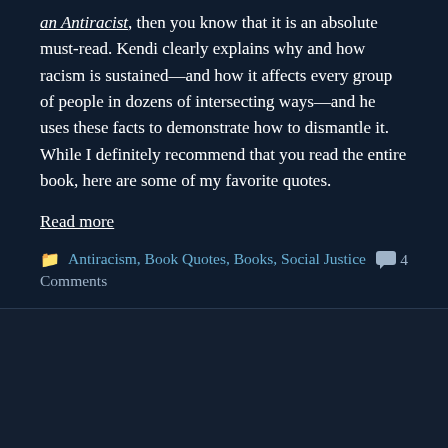an Antiracist, then you know that it is an absolute must-read. Kendi clearly explains why and how racism is sustained—and how it affects every group of people in dozens of intersecting ways—and he uses these facts to demonstrate how to dismantle it. While I definitely recommend that you read the entire book, here are some of my favorite quotes.
Read more
Antiracism, Book Quotes, Books, Social Justice   4 Comments